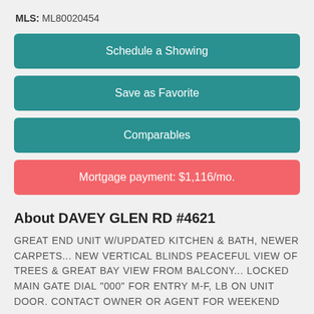MLS: ML80020454
Schedule a Showing
Save as Favorite
Comparables
Mortgage payment: $1,116/mo.
About DAVEY GLEN RD #4621
GREAT END UNIT W/UPDATED KITCHEN & BATH, NEWER CARPETS... NEW VERTICAL BLINDS PEACEFUL VIEW OF TREES & GREAT BAY VIEW FROM BALCONY... LOCKED MAIN GATE DIAL "000" FOR ENTRY M-F, LB ON UNIT DOOR. CONTACT OWNER OR AGENT FOR WEEKEND
Map unavailable for property.